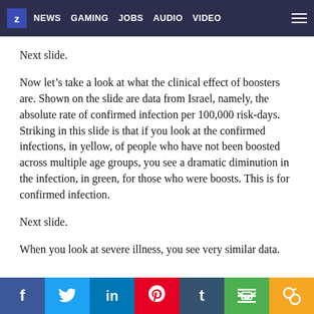z | NEWS  GAMING  JOBS  AUDIO  VIDEO
Next slide.
Now let’s take a look at what the clinical effect of boosters are. Shown on the slide are data from Israel, namely, the absolute rate of confirmed infection per 100,000 risk-days. Striking in this slide is that if you look at the confirmed infections, in yellow, of people who have not been boosted across multiple age groups, you see a dramatic diminution in the infection, in green, for those who were boosts. This is for confirmed infection.
Next slide.
When you look at severe illness, you see very similar data.